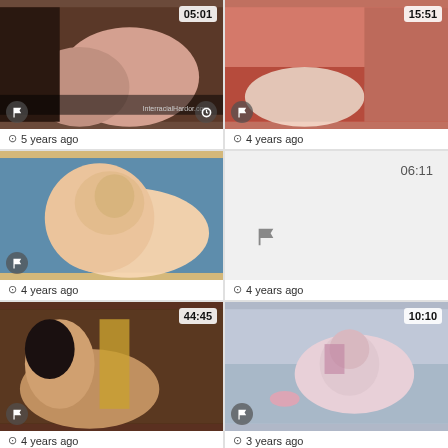[Figure (screenshot): Video thumbnail 1, duration 05:01]
5 years ago
[Figure (screenshot): Video thumbnail 2, duration 15:51]
4 years ago
[Figure (screenshot): Video thumbnail 3, no duration badge shown in thumb area]
4 years ago
[Figure (screenshot): Video card 4 with duration 06:11, no thumbnail image loaded]
4 years ago
[Figure (screenshot): Video thumbnail 5, duration 44:45]
4 years ago
[Figure (screenshot): Video thumbnail 6, duration 10:10]
3 years ago